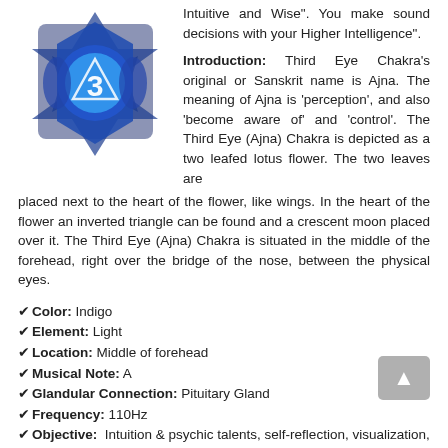Intuitive and Wise". You make sound decisions with your Higher Intelligence".
[Figure (illustration): Third Eye Chakra symbol — a blue indigo star/hexagram shape with a lotus and the Sanskrit numeral 3 in the center, layered geometric shapes in shades of blue and indigo.]
Introduction: Third Eye Chakra's original or Sanskrit name is Ajna. The meaning of Ajna is 'perception', and also 'become aware of' and 'control'. The Third Eye (Ajna) Chakra is depicted as a two leafed lotus flower. The two leaves are placed next to the heart of the flower, like wings. In the heart of the flower an inverted triangle can be found and a crescent moon placed over it. The Third Eye (Ajna) Chakra is situated in the middle of the forehead, right over the bridge of the nose, between the physical eyes.
Color: Indigo
Element: Light
Location: Middle of forehead
Musical Note: A
Glandular Connection: Pituitary Gland
Frequency: 110Hz
Objective: Intuition & psychic talents, self-reflection, visualization, discernment and trust of your own intuition
Description: The Third Eye (Ajna) Chakra is connected to the pituitary gland